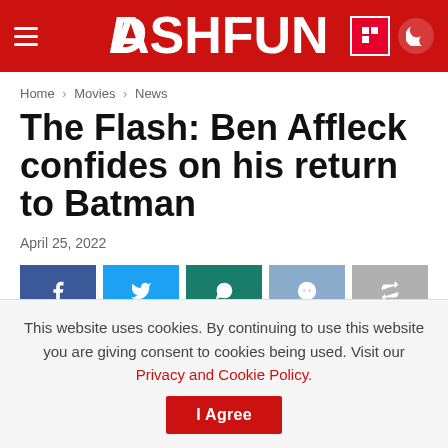DASHFUN
Home > Movies > News
The Flash: Ben Affleck confides on his return to Batman
April 25, 2022
[Figure (infographic): Social share buttons: Facebook, Twitter, WhatsApp, Reddit, Share]
This website uses cookies. By continuing to use this website you are giving consent to cookies being used. Visit our Privacy and Cookie Policy.